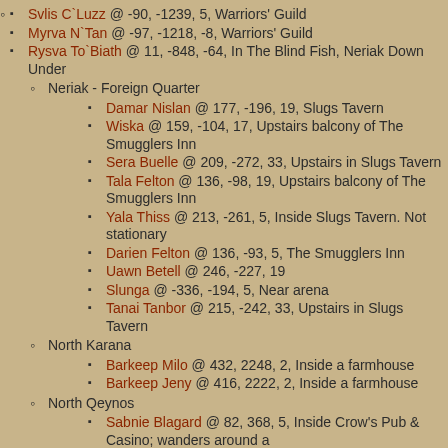Svlis C`Luzz @ -90, -1239, 5, Warriors' Guild
Myrva N`Tan @ -97, -1218, -8, Warriors' Guild
Rysva To`Biath @ 11, -848, -64, In The Blind Fish, Neriak Down Under
Neriak - Foreign Quarter
Damar Nislan @ 177, -196, 19, Slugs Tavern
Wiska @ 159, -104, 17, Upstairs balcony of The Smugglers Inn
Sera Buelle @ 209, -272, 33, Upstairs in Slugs Tavern
Tala Felton @ 136, -98, 19, Upstairs balcony of The Smugglers Inn
Yala Thiss @ 213, -261, 5, Inside Slugs Tavern. Not stationary
Darien Felton @ 136, -93, 5, The Smugglers Inn
Uawn Betell @ 246, -227, 19
Slunga @ -336, -194, 5, Near arena
Tanai Tanbor @ 215, -242, 33, Upstairs in Slugs Tavern
North Karana
Barkeep Milo @ 432, 2248, 2, Inside a farmhouse
Barkeep Jeny @ 416, 2222, 2, Inside a farmhouse
North Qeynos
Sabnie Blagard @ 82, 368, 5, Inside Crow's Pub & Casino; wanders around a